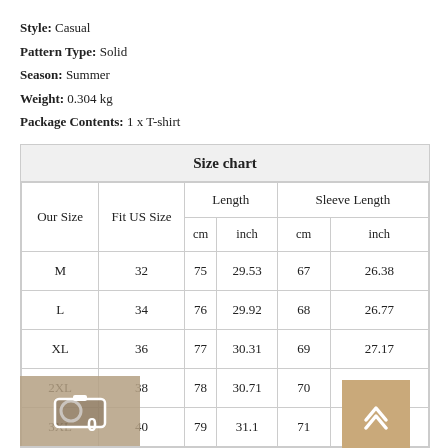Style: Casual
Pattern Type: Solid
Season: Summer
Weight: 0.304 kg
Package Contents: 1 x T-shirt
| Our Size | Fit US Size | Length cm | Length inch | Sleeve Length cm | Sleeve Length inch |
| --- | --- | --- | --- | --- | --- |
| M | 32 | 75 | 29.53 | 67 | 26.38 |
| L | 34 | 76 | 29.92 | 68 | 26.77 |
| XL | 36 | 77 | 30.31 | 69 | 27.17 |
| 2XL | 38 | 78 | 30.71 | 70 | 27.56 |
| 3XL | 40 | 79 | 31.1 | 71 | 27.95 |